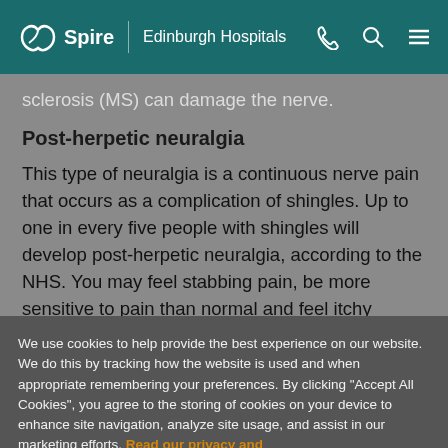Spire | Edinburgh Hospitals
sclerosis (MS) can damage the nerve.
Post-herpetic neuralgia
This type of neuralgia is a continuous nerve pain that occurs as a complication of shingles. Up to one in every five people with shingles will develop post-herpetic neuralgia, according to the NHS. You may feel stabbing pain, be more sensitive to pain than normal and feel itchy
We use cookies to help provide the best experience on our website. We do this by tracking how the website is used and when appropriate remembering your preferences. By clicking "Accept All Cookies", you agree to the storing of cookies on your device to enhance site navigation, analyze site usage, and assist in our marketing efforts. Read our privacy and cookie policy